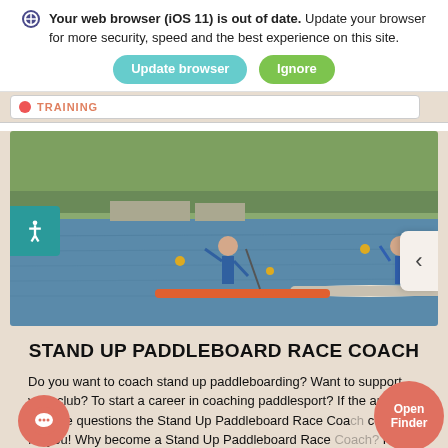Your web browser (iOS 11) is out of date. Update your browser for more security, speed and the best experience on this site.
Update browser | Ignore
[Figure (photo): Paddleboard race on a lake — competitors standing on paddleboards with paddles, racing on calm water with green grass bank in background]
STAND UP PADDLEBOARD RACE COACH
Do you want to coach stand up paddleboarding? Want to support your club? To start a career in coaching paddlesport? If the answer is those questions the Stand Up Paddleboard Race Coach could be for you! Why become a Stand Up Paddleboard Race Coach? First of all, you will be...